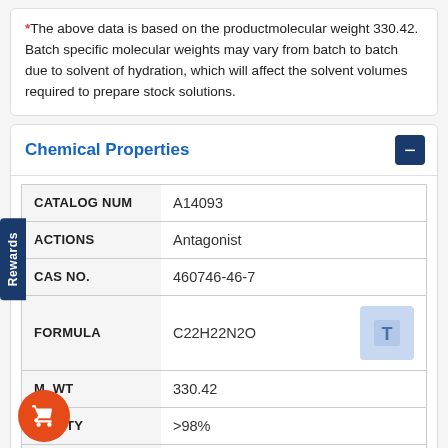*The above data is based on the productmolecular weight 330.42. Batch specific molecular weights may vary from batch to batch due to solvent of hydration, which will affect the solvent volumes required to prepare stock solutions.
Chemical Properties
| Property | Value |
| --- | --- |
| CATALOG NUM | A14093 |
| ACTIONS | Antagonist |
| CAS NO. | 460746-46-7 |
| FORMULA | C22H22N2O |
| M. WT | 330.42 |
| PURITY | >98% |
|  | C[C@H]1N(CCC2=CC3=C(C=CC(C |